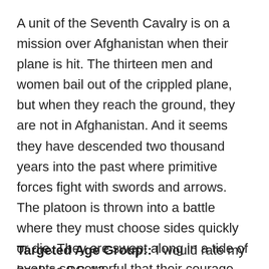A unit of the Seventh Cavalry is on a mission over Afghanistan when their plane is hit. The thirteen men and women bail out of the crippled plane, but when they reach the ground, they are not in Afghanistan. And it seems they have descended two thousand years into the past where primitive forces fight with swords and arrows. The platoon is thrown into a battle where they must choose sides quickly or die. They are swept along in a tide of events so powerful that their courage, ingenuity and weapons are tested to the limits of their durability and strength.
Targeted Age Group:: I would rate my book as PG-13